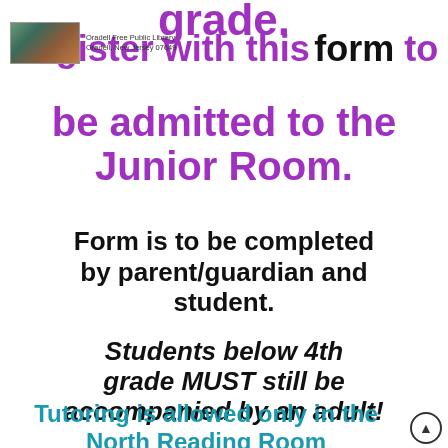grade.
[Figure (photo): Oradell Free Public Library logo/image thumbnail with library name text]
Register with this form to be admitted to the Junior Room.
Form is to be completed by parent/guardian and student.
Students below 4th grade MUST still be accompanied by an adult!
Tutoring is allowed only in the North Reading Room